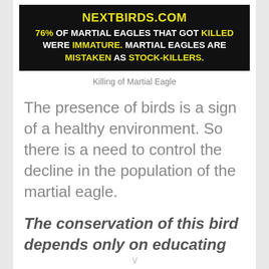[Figure (infographic): Dark banner from nextbirds.com stating '76% OF MARTIAL EAGLES THAT GOT KILLED WERE IMMATURE. MARTIAL EAGLES ARE MISTAKEN AS STOCK-KILLERS.']
Killing of Martial Eagle
The presence of birds is a sign of a healthy environment. So there is a need to control the decline in the population of the martial eagle.
The conservation of this bird depends only on educating